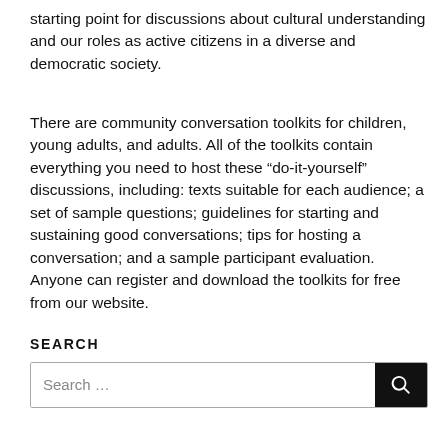starting point for discussions about cultural understanding and our roles as active citizens in a diverse and democratic society.
There are community conversation toolkits for children, young adults, and adults. All of the toolkits contain everything you need to host these “do-it-yourself” discussions, including: texts suitable for each audience; a set of sample questions; guidelines for starting and sustaining good conversations; tips for hosting a conversation; and a sample participant evaluation. Anyone can register and download the toolkits for free from our website.
SEARCH